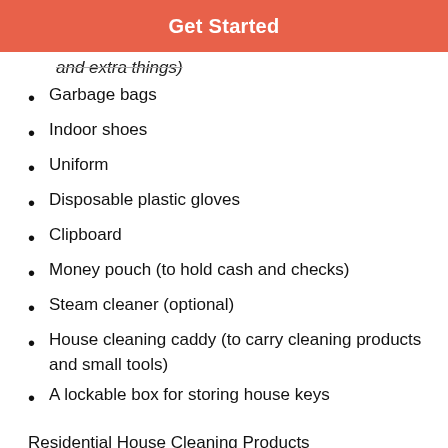Get Started
and extra things)
Garbage bags
Indoor shoes
Uniform
Disposable plastic gloves
Clipboard
Money pouch (to hold cash and checks)
Steam cleaner (optional)
House cleaning caddy (to carry cleaning products and small tools)
A lockable box for storing house keys
Residential House Cleaning Products
Floor cleaner (that can be used on all floor types)